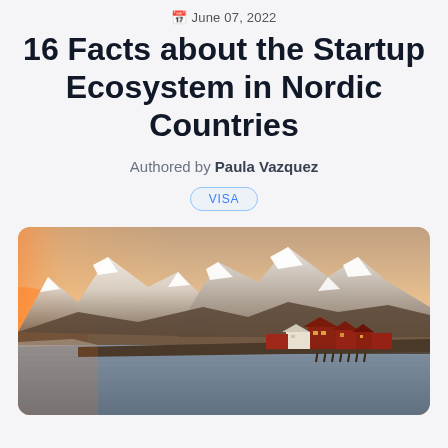📅 June 07, 2022
16 Facts about the Startup Ecosystem in Nordic Countries
Authored by Paula Vazquez
VISA
[Figure (photo): Scenic photo of a Nordic coastal village with red and white buildings on stilts over water, with large snow-capped mountains in the background lit by golden sunset light.]